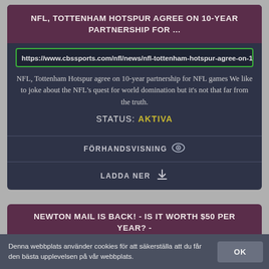NFL, TOTTENHAM HOTSPUR AGREE ON 10-YEAR PARTNERSHIP FOR ...
https://www.cbssports.com/nfl/news/nfl-tottenham-hotspur-agree-on-10
NFL, Tottenham Hotspur agree on 10-year partnership for NFL games We like to joke about the NFL's quest for world domination but it's not that far from the truth.
STATUS: AKTIVA
FÖRHANDSVISNING
LADDA NER
NEWTON MAIL IS BACK! - IS IT WORTH $50 PER YEAR? - YOUTUBE
Denna webbplats använder cookies för att säkerställa att du får den bästa upplevelsen på vår webbplats.